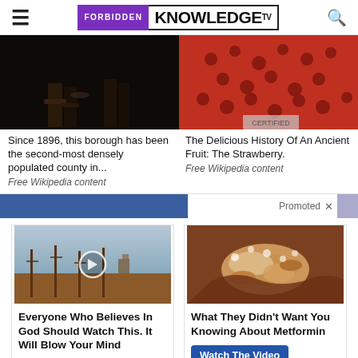Forbidden Knowledge TV
[Figure (screenshot): Dark image thumbnail showing legs/feet, left article]
[Figure (screenshot): Close-up of red strawberry texture, right article]
Since 1896, this borough has been the second-most densely populated county in...
Free Wikipedia content
The Delicious History Of An Ancient Fruit: The Strawberry.
Free Wikipedia content
Promoted
[Figure (screenshot): Cemetery scene video thumbnail with play button]
[Figure (screenshot): Medical/anatomical image of organ (pancreas)]
Everyone Who Believes In God Should Watch This. It Will Blow Your Mind
Watch The Video
What They Didn't Want You Knowing About Metformin
Watch The Video